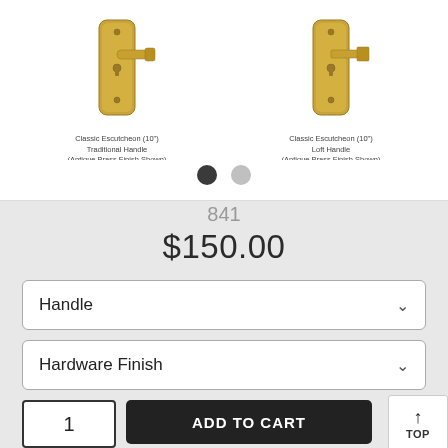[Figure (photo): Two antique brass door handle sets on escutcheon plates. Left: Classic Escutcheon (10') Traditional Handle (Antique Brass Finish Shown). Right: Classic Escutcheon (10') Loft Handle (Antique Brass Finish Shown).]
Classic Escutcheon (10') Traditional Handle (Antique Brass Finish Shown)
Classic Escutcheon (10') Loft Handle (Antique Brass Finish Shown)
841
$150.00
Handle
Hardware Finish
1
ADD TO CART
TOP